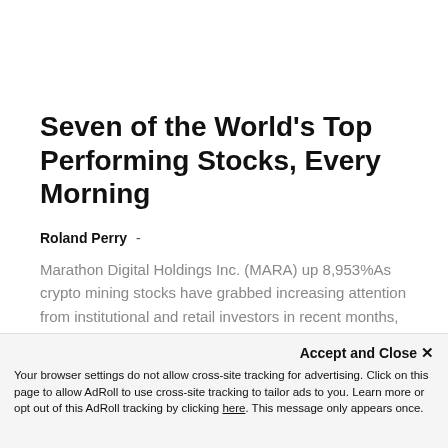Seven of the World's Top Performing Stocks, Every Morning
Roland Perry -
Marathon Digital Holdings Inc. (MARA) up 8,953%As crypto mining stocks have grabbed increasing attention from institutional and retail investors in recent months, shares of...
Financials Trend Action Trader Alerts!
Accept and Close ✕
Your browser settings do not allow cross-site tracking for advertising. Click on this page to allow AdRoll to use cross-site tracking to tailor ads to you. Learn more or opt out of this AdRoll tracking by clicking here. This message only appears once.